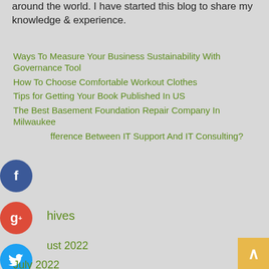around the world. I have started this blog to share my knowledge & experience.
Ways To Measure Your Business Sustainability With Governance Tool
How To Choose Comfortable Workout Clothes
Tips for Getting Your Book Published In US
The Best Basement Foundation Repair Company In Milwaukee
Difference Between IT Support And IT Consulting?
Archives
August 2022
July 2022
June 2022
May 2022
Recent Posts
April 2022
March 2022